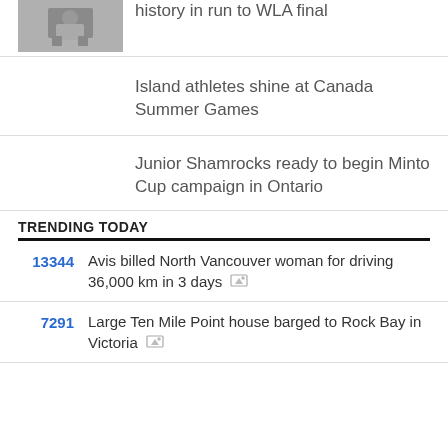[Figure (photo): Sports photo showing athlete crouching]
history in run to WLA final
Island athletes shine at Canada Summer Games
Junior Shamrocks ready to begin Minto Cup campaign in Ontario
TRENDING TODAY
13344  Avis billed North Vancouver woman for driving 36,000 km in 3 days
7291  Large Ten Mile Point house barged to Rock Bay in Victoria